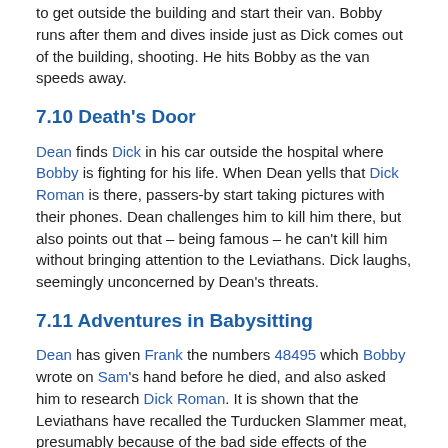to get outside the building and start their van. Bobby runs after them and dives inside just as Dick comes out of the building, shooting. He hits Bobby as the van speeds away.
7.10 Death's Door
Dean finds Dick in his car outside the hospital where Bobby is fighting for his life. When Dean yells that Dick Roman is there, passers-by start taking pictures with their phones. Dean challenges him to kill him there, but also points out that – being famous – he can't kill him without bringing attention to the Leviathans. Dick laughs, seemingly unconcerned by Dean's threats.
7.11 Adventures in Babysitting
Dean has given Frank the numbers 48495 which Bobby wrote on Sam's hand before he died, and also asked him to research Dick Roman. It is shown that the Leviathans have recalled the Turducken Slammer meat, presumably because of the bad side effects of the additive. Having not heard from him for a month, Dean returns to Frank's house to find it deserted. Frank confronts him, and they both have to shed some blood to prove to the other